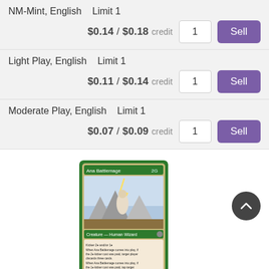NM-Mint, English    Limit 1
$0.14 / $0.18 credit
Light Play, English    Limit 1
$0.11 / $0.14 credit
Moderate Play, English    Limit 1
$0.07 / $0.09 credit
[Figure (illustration): Ana Battlemage Magic: The Gathering card showing a human wizard with lightning, green border. Card text: Creature — Human Wizard. Kicker 2G and/or 1B. When Ana Battlemage comes into play, if the 2G kicker cost was paid, target player discards three cards. When Ana Battlemage comes into play, if the 1B kicker cost was paid, tap target untapped creature and that creature deals damage equal to its power to its controller.]